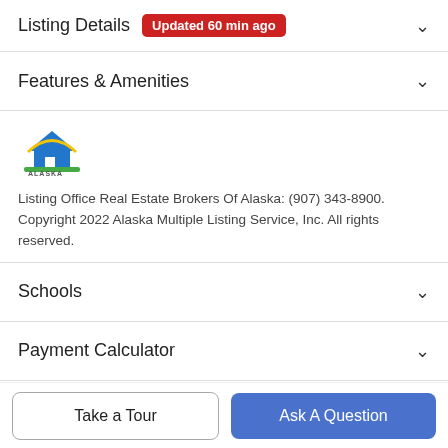Listing Details Updated 60 min ago
Features & Amenities
[Figure (logo): Alaska MLS logo with house graphic and green/yellow/blue colors]
Listing Office Real Estate Brokers Of Alaska: (907) 343-8900. Copyright 2022 Alaska Multiple Listing Service, Inc. All rights reserved.
Schools
Payment Calculator
Contact Agent
Take a Tour
Ask A Question